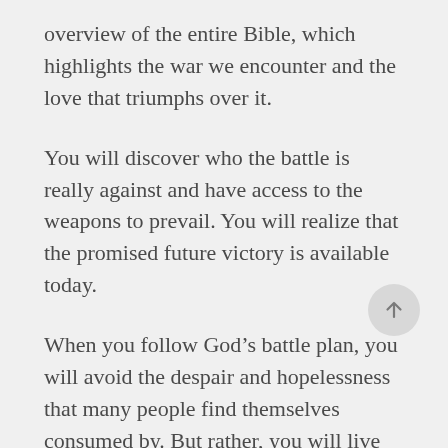overview of the entire Bible, which highlights the war we encounter and the love that triumphs over it.
You will discover who the battle is really against and have access to the weapons to prevail. You will realize that the promised future victory is available today.
When you follow God’s battle plan, you will avoid the despair and hopelessness that many people find themselves consumed by. But rather, you will live confident in the plan, knowing God is always in control. You will recognize that you are a part of a much larger story that God is